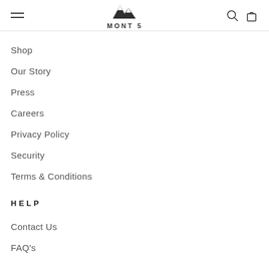MONT5 navigation header with hamburger menu, logo, search and cart icons
Shop
Our Story
Press
Careers
Privacy Policy
Security
Terms & Conditions
HELP
Contact Us
FAQ's